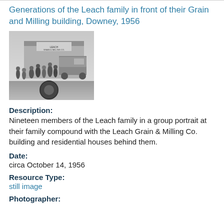Generations of the Leach family in front of their Grain and Milling building, Downey, 1956
[Figure (photo): Black and white photograph of nineteen members of the Leach family in a group portrait in front of the Leach Grain & Milling Co. building with a truck and residential houses visible in the background, Downey, 1956.]
Description:
Nineteen members of the Leach family in a group portrait at their family compound with the Leach Grain & Milling Co. building and residential houses behind them.
Date:
circa October 14, 1956
Resource Type:
still image
Photographer: